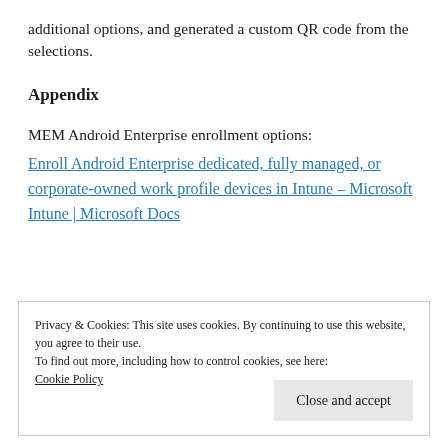additional options, and generated a custom QR code from the selections.
Appendix
MEM Android Enterprise enrollment options:
Enroll Android Enterprise dedicated, fully managed, or corporate-owned work profile devices in Intune – Microsoft Intune | Microsoft Docs
Privacy & Cookies: This site uses cookies. By continuing to use this website, you agree to their use.
To find out more, including how to control cookies, see here: Cookie Policy